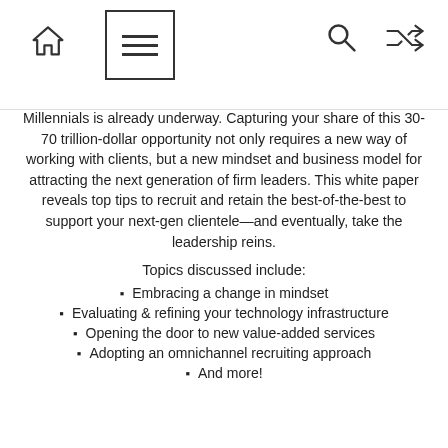[navigation bar with home, menu, search, shuffle icons]
Millennials is already underway. Capturing your share of this 30-70 trillion-dollar opportunity not only requires a new way of working with clients, but a new mindset and business model for attracting the next generation of firm leaders. This white paper reveals top tips to recruit and retain the best-of-the-best to support your next-gen clientele—and eventually, take the leadership reins.
Topics discussed include:
Embracing a change in mindset
Evaluating & refining your technology infrastructure
Opening the door to new value-added services
Adopting an omnichannel recruiting approach
And more!